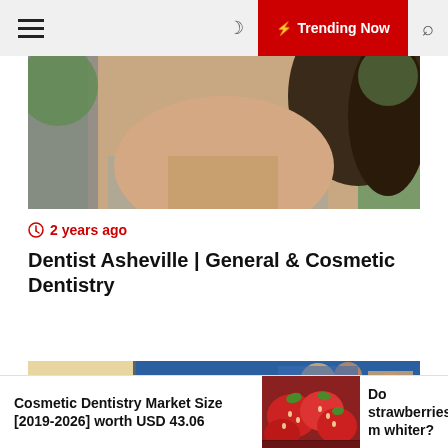≡  🌙  ⚡ Trending Now  🔍
[Figure (photo): Close-up photo of a person's lower face/chin area against a blurred green outdoor background]
🕐 2 years ago
Dentist Asheville | General & Cosmetic Dentistry
[Figure (photo): Book cover image showing 'Healthy Teeth – Healthy Body' by Tom McGuire, with blue and yellow design]
Cosmetic Dentistry Market Size [2019-2026] worth USD 43.06
[Figure (photo): Photo of red strawberries in a container]
Do strawberries m whiter?